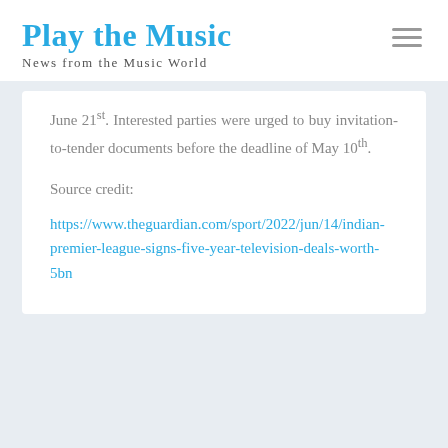Play the Music
News from the Music World
June 21st. Interested parties were urged to buy invitation-to-tender documents before the deadline of May 10th.
Source credit:
https://www.theguardian.com/sport/2022/jun/14/indian-premier-league-signs-five-year-television-deals-worth-5bn